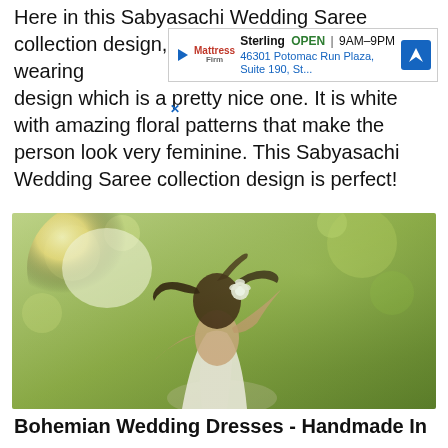Here in this Sabyasachi Wedding Saree collection design, [ad overlay] and is wearing [ad overlay] ee collection design which is a pretty nice one. It is white with amazing floral patterns that make the person look very feminine. This Sabyasachi Wedding Saree collection design is perfect!
[Figure (screenshot): Google Maps ad banner for Sterling Mattress store: OPEN 9AM-9PM, 46301 Potomac Run Plaza, Suite 190, St...]
[Figure (photo): Woman in white wedding dress/saree with white flower in dark hair, outdoors with green bokeh background and sunlight flare]
Bohemian Wedding Dresses - Handmade In